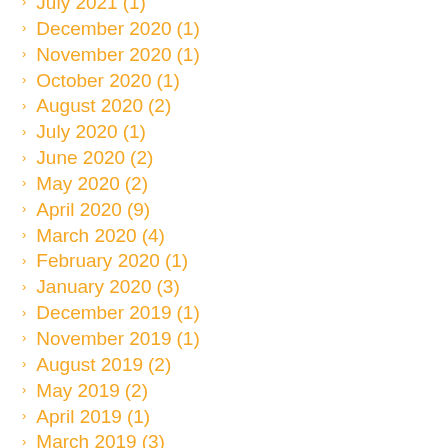July 2021 (1)
December 2020 (1)
November 2020 (1)
October 2020 (1)
August 2020 (2)
July 2020 (1)
June 2020 (2)
May 2020 (2)
April 2020 (9)
March 2020 (4)
February 2020 (1)
January 2020 (3)
December 2019 (1)
November 2019 (1)
August 2019 (2)
May 2019 (2)
April 2019 (1)
March 2019 (3)